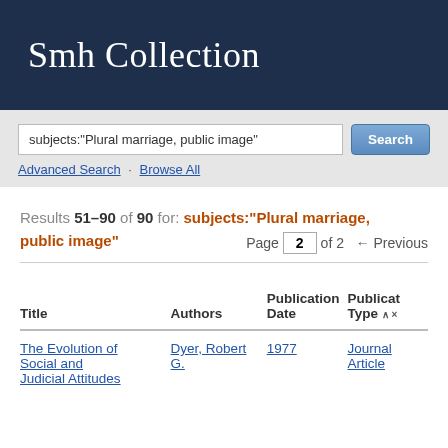Smh Collection
[Figure (screenshot): Search bar with query: subjects:"Plural marriage, public image" and Search button]
Advanced Search · Browse All
Results 51–90 of 90 for: subjects:"Plural marriage, public image"  Page 2 of 2  ← Previous
| Title | Authors | Publication Date | Publication Type |
| --- | --- | --- | --- |
| The Evolution of Social and Judicial Attitudes | Dyer, Robert G. | 1977 | Journal Article |